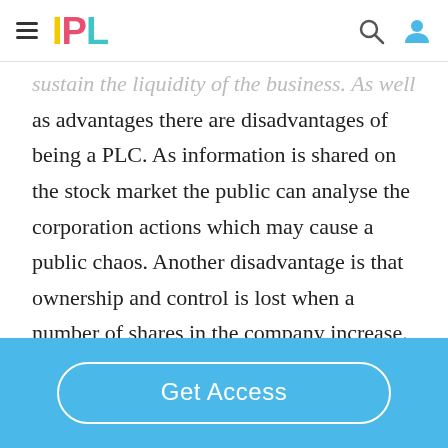IPL
sustain the liquidity of the business. As well as advantages there are disadvantages of being a PLC. As information is shared on the stock market the public can analyse the corporation actions which may cause a public chaos. Another disadvantage is that ownership and control is lost when a number of shares in the company increase. This means the
Get Access